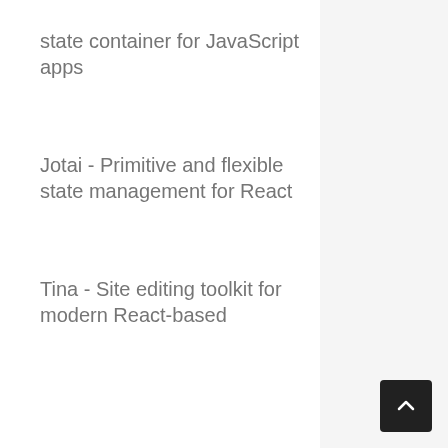state container for JavaScript apps
Jotai - Primitive and flexible state management for React
Tina - Site editing toolkit for modern React-based…